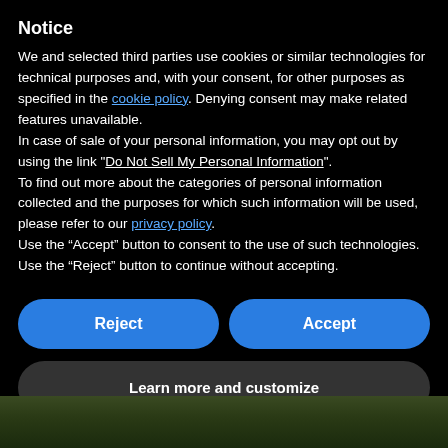Notice
We and selected third parties use cookies or similar technologies for technical purposes and, with your consent, for other purposes as specified in the cookie policy. Denying consent may make related features unavailable.
In case of sale of your personal information, you may opt out by using the link "Do Not Sell My Personal Information".
To find out more about the categories of personal information collected and the purposes for which such information will be used, please refer to our privacy policy.
Use the “Accept” button to consent to the use of such technologies. Use the “Reject” button to continue without accepting.
[Figure (screenshot): Two blue rounded buttons side by side: 'Reject' on the left and 'Accept' on the right, and a dark grey rounded button below labeled 'Learn more and customize']
[Figure (photo): Bottom strip showing grass/ground vegetation photo]